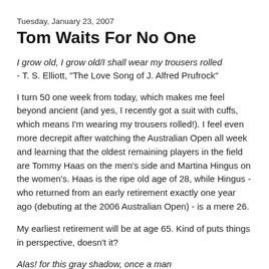Tuesday, January 23, 2007
Tom Waits For No One
I grow old, I grow old/I shall wear my trousers rolled
- T. S. Elliott, "The Love Song of J. Alfred Prufrock"
I turn 50 one week from today, which makes me feel beyond ancient (and yes, I recently got a suit with cuffs, which means I'm wearing my trousers rolled!). I feel even more decrepit after watching the Australian Open all week and learning that the oldest remaining players in the field are Tommy Haas on the men's side and Martina Hingus on the women's. Haas is the ripe old age of 28, while Hingus - who returned from an early retirement exactly one year ago (debuting at the 2006 Australian Open) - is a mere 26.
My earliest retirement will be at age 65. Kind of puts things in perspective, doesn't it?
Alas! for this gray shadow, once a man